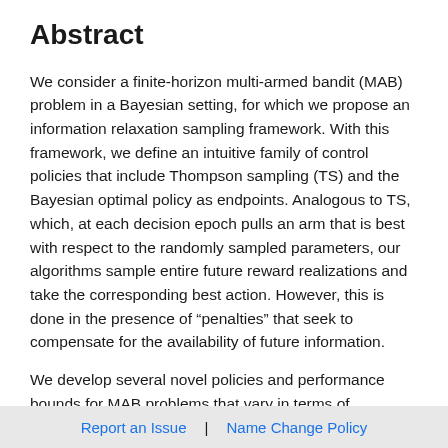Abstract
We consider a finite-horizon multi-armed bandit (MAB) problem in a Bayesian setting, for which we propose an information relaxation sampling framework. With this framework, we define an intuitive family of control policies that include Thompson sampling (TS) and the Bayesian optimal policy as endpoints. Analogous to TS, which, at each decision epoch pulls an arm that is best with respect to the randomly sampled parameters, our algorithms sample entire future reward realizations and take the corresponding best action. However, this is done in the presence of “penalties” that seek to compensate for the availability of future information.
We develop several novel policies and performance bounds for MAB problems that vary in terms of
Report an Issue  |  Name Change Policy